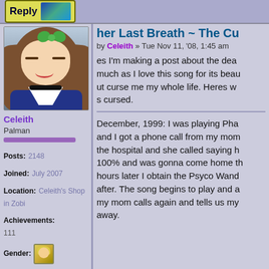[Figure (screenshot): Reply button with anime character icon in top bar]
Her Last Breath ~ The Cu[r]
by Celeith » Tue Nov 11, '08, 1:45 am
[Figure (illustration): Anime avatar of Celeith, a brown-haired girl with green bow, eyes closed, smiling, wearing dark blue outfit]
Celeith
Palman
Posts: 2148
Joined: July 2007
Location: Celeith's Shop in Zobi
Achievements: 111
Gender:
es I'm making a post about the dea[d] much as I love this song for its beau[ty] ut curse me my whole life. Heres w[hy] s cursed.

December, 1999: I was playing Pha[n] and I got a phone call from my mom [at] the hospital and she called saying h[er] 100% and was gonna come home th[at] hours later I obtain the Psyco Wand after. The song begins to play and a my mom calls again and tells us my [g] away.